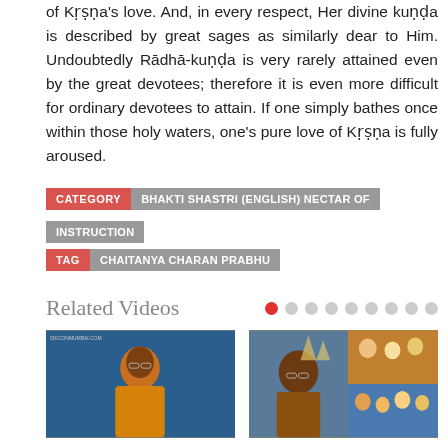of Kṛṣṇa's love. And, in every respect, Her divine kuṇḍa is described by great sages as similarly dear to Him. Undoubtedly Rādhā-kuṇḍa is very rarely attained even by the great devotees; therefore it is even more difficult for ordinary devotees to attain. If one simply bathes once within those holy waters, one's pure love of Kṛṣṇa is fully aroused.
CATEGORY  BHAKTI SHASTRI (ENGLISH) NECTAR OF INSTRUCTION
TAG  CHAITANYA CHARAN PRABHU
Related Videos
[Figure (photo): Video thumbnail showing a monk in orange robe speaking, blue background]
[Figure (photo): Video thumbnail collage with a monk and crowd scenes]